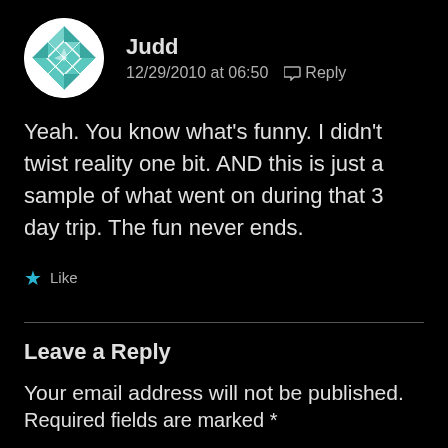[Figure (illustration): Circular avatar with teal/green geometric quilt-like pattern on white background]
Judd
12/29/2010 at 06:50  Reply
Yeah. You know what's funny. I didn't twist reality one bit. AND this is just a sample of what went on during that 3 day trip. The fun never ends.
★ Like
Leave a Reply
Your email address will not be published.
Required fields are marked *